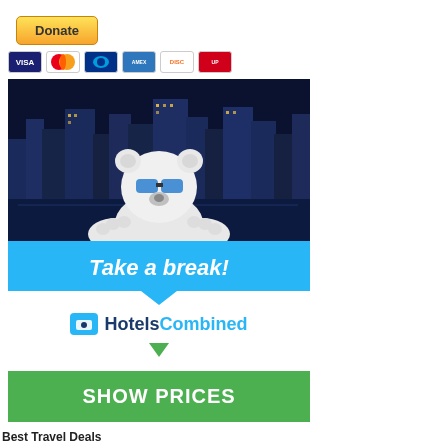[Figure (other): PayPal Donate button (yellow/orange gradient)]
[Figure (other): Payment card icons: Visa, Mastercard, PayPal, American Express, Discover, UnionPay]
[Figure (other): HotelsCombined advertisement banner featuring a white bear mascot over a city skyline at night, with 'Take a break!' text on a blue band, HotelsCombined logo, and a green 'SHOW PRICES' button]
Best Travel Deals
Maldives Vacation Packages
[Figure (photo): Aerial photo of Maldives overwater bungalows and tropical island with turquoise water]